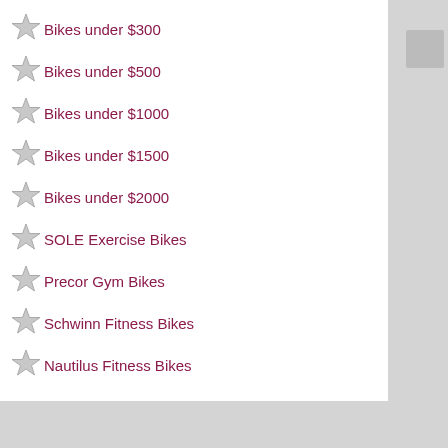Bikes under $300
Bikes under $500
Bikes under $1000
Bikes under $1500
Bikes under $2000
SOLE Exercise Bikes
Precor Gym Bikes
Schwinn Fitness Bikes
Nautilus Fitness Bikes
– UPRIGHT EXERCISE BIKES TOP PICKS
NordicTrack S22i Studio Cycle
NordicTrack S15i Studio Cycle
Schwinn 170 Upright Stationary Bike
Schwinn 130 Upright Stationary Bike